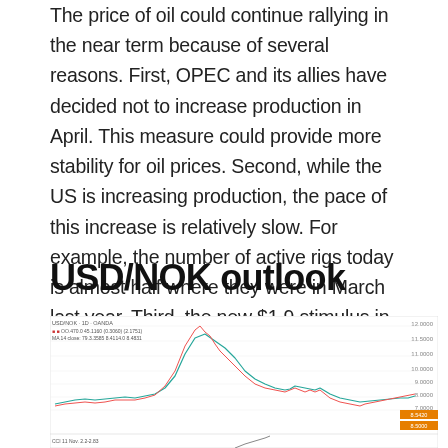The price of oil could continue rallying in the near term because of several reasons. First, OPEC and its allies have decided not to increase production in April. This measure could provide more stability for oil prices. Second, while the US is increasing production, the pace of this increase is relatively slow. For example, the number of active rigs today is almost half where they were in March last year. Third, the new $1.9 stimulus in the United States will help to support demand.
USD/NOK outlook
[Figure (continuous-plot): USD/NOK 1D OANDA candlestick/line chart showing price history with moving averages. The chart shows a major spike around 2020 reaching approximately 11-12 range, with the price currently declining toward around 8.5. Red and teal/cyan lines shown as moving averages overlaid on candlestick data. Y-axis shows values from approximately 7.0000 to 12.0000. Current price label shown in orange/red at approximately 8.5420. A second sub-chart begins at the bottom.]